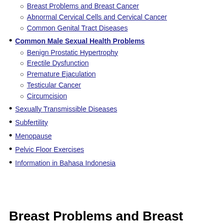Breast Problems and Breast Cancer
Abnormal Cervical Cells and Cervical Cancer
Common Genital Tract Diseases
Common Male Sexual Health Problems
Benign Prostatic Hypertrophy
Erectile Dysfunction
Premature Ejaculation
Testicular Cancer
Circumcision
Sexually Transmissible Diseases
Subfertility
Menopause
Pelvic Floor Exercises
Information in Bahasa Indonesia
Breast Problems and Breast